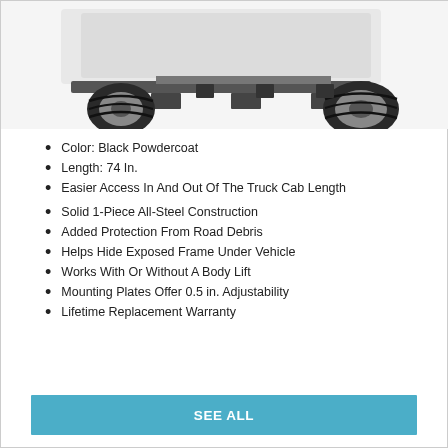[Figure (photo): Partial view of a lifted truck with large off-road tires and step bars / running boards visible along the underside of the vehicle, cropped at the top of the page.]
Color: Black Powdercoat
Length: 74 In.
Easier Access In And Out Of The Truck Cab Length
Solid 1-Piece All-Steel Construction
Added Protection From Road Debris
Helps Hide Exposed Frame Under Vehicle
Works With Or Without A Body Lift
Mounting Plates Offer 0.5 in. Adjustability
Lifetime Replacement Warranty
SEE ALL